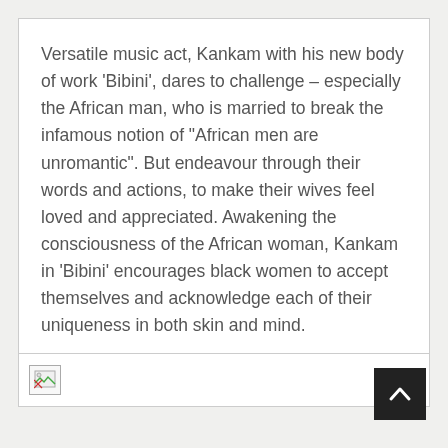Versatile music act, Kankam with his new body of work ‘Bibini’, dares to challenge – especially the African man, who is married to break the infamous notion of “African men are unromantic”. But endeavour through their words and actions, to make their wives feel loved and appreciated. Awakening the consciousness of the African woman, Kankam in ‘Bibini’ encourages black women to accept themselves and acknowledge each of their uniqueness in both skin and mind.
[Figure (other): Broken/missing image placeholder icon]